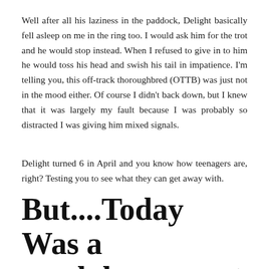Well after all his laziness in the paddock, Delight basically fell asleep on me in the ring too. I would ask him for the trot and he would stop instead. When I refused to give in to him he would toss his head and swish his tail in impatience. I'm telling you, this off-track thoroughbred (OTTB) was just not in the mood either. Of course I didn't back down, but I knew that it was largely my fault because I was probably so distracted I was giving him mixed signals.
Delight turned 6 in April and you know how teenagers are, right? Testing you to see what they can get away with.
But....Today Was a good day
It's Monday